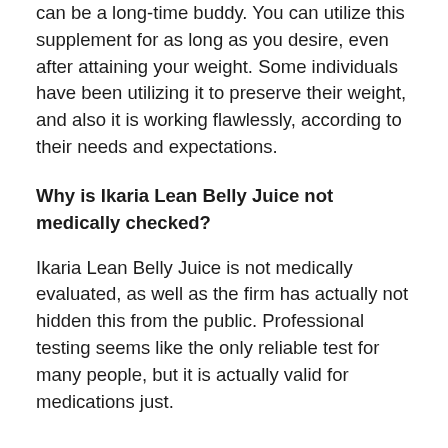can be a long-time buddy. You can utilize this supplement for as long as you desire, even after attaining your weight. Some individuals have been utilizing it to preserve their weight, and also it is working flawlessly, according to their needs and expectations.
Why is Ikaria Lean Belly Juice not medically checked?
Ikaria Lean Belly Juice is not medically evaluated, as well as the firm has actually not hidden this from the public. Professional testing seems like the only reliable test for many people, but it is actually valid for medications just.